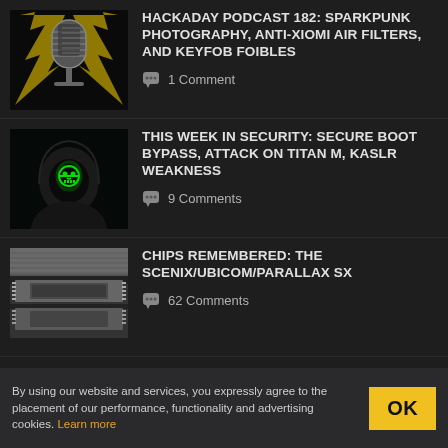[Figure (illustration): Retro microphone with yellow circuit/lightning bolt decorative frame on dark background - Hackaday Podcast thumbnail]
HACKADAY PODCAST 182: SPARKPUNK PHOTOGRAPHY, ANTI-XIOMI AIR FILTERS, AND KEYFOB FOIBLES
1 Comment
[Figure (illustration): Hooded figure with glowing green skull-and-crossbones on face/mask, dark background - security article thumbnail]
THIS WEEK IN SECURITY: SECURE BOOT BYPASS, ATTACK ON TITAN M, KASLR WEAKNESS
9 Comments
[Figure (photo): Close-up photo of multiple integrated circuit chips stacked/arranged]
CHIPS REMEMBERED: THE SCENIX/UBICOM/PARALLAX SX
62 Comments
By using our website and services, you expressly agree to the placement of our performance, functionality and advertising cookies. Learn more